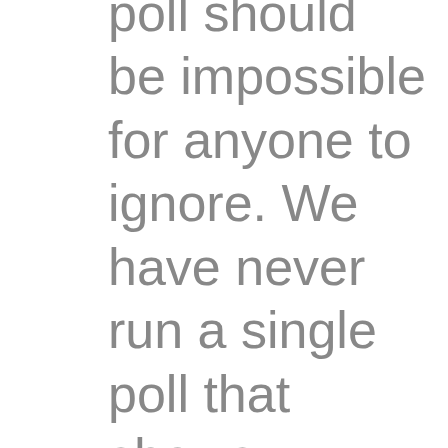poll should be impossible for anyone to ignore. We have never run a single poll that shows everything is fine and the vaccines are perfectly safe. That is why the mainstream media will never do these polls. But most